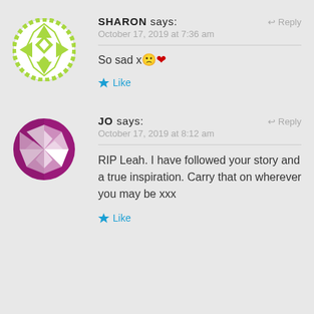[Figure (illustration): Green geometric quilt-pattern avatar in a circle with decorative border]
SHARON says: ↩ Reply
October 17, 2019 at 7:36 am
So sad x 🙁 ❤
★ Like
[Figure (illustration): Purple/magenta geometric quilt-pattern avatar in a circle]
JO says: ↩ Reply
October 17, 2019 at 8:12 am
RIP Leah. I have followed your story and a true inspiration. Carry that on wherever you may be xxx
★ Like